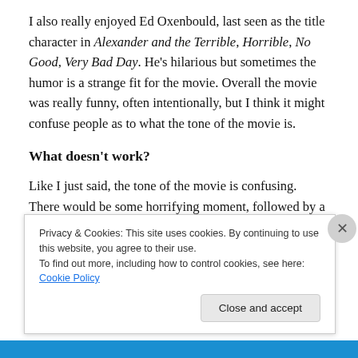I also really enjoyed Ed Oxenbould, last seen as the title character in Alexander and the Terrible, Horrible, No Good, Very Bad Day. He's hilarious but sometimes the humor is a strange fit for the movie. Overall the movie was really funny, often intentionally, but I think it might confuse people as to what the tone of the movie is.
What doesn't work?
Like I just said, the tone of the movie is confusing. There would be some horrifying moment, followed by a joke, followed by an unintentionally corny moment. Most laughs
Privacy & Cookies: This site uses cookies. By continuing to use this website, you agree to their use.
To find out more, including how to control cookies, see here: Cookie Policy
Close and accept